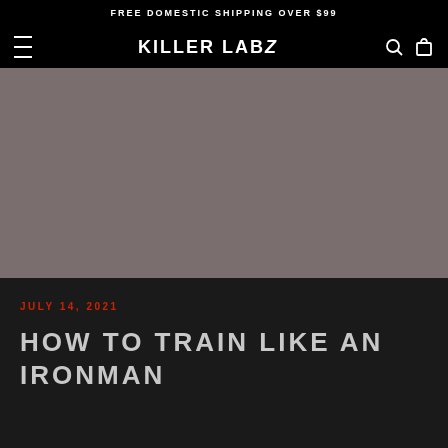FREE DOMESTIC SHIPPING OVER $99
[Figure (logo): Killer Labz brand logo in white bold text on black navigation bar with hamburger menu, search icon, and bag icon]
[Figure (photo): Large hero image with gray/taupe muted background, no visible subject]
JULY 14, 2021
HOW TO TRAIN LIKE AN IRONMAN